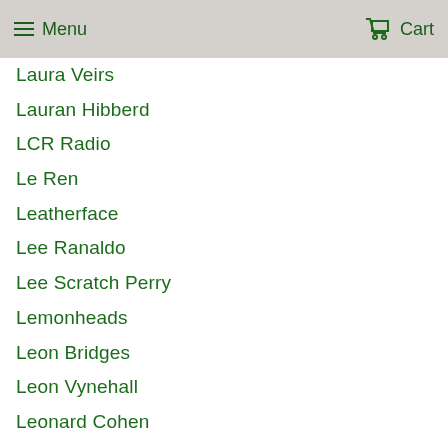Menu  Cart
Laura Veirs
Lauran Hibberd
LCR Radio
Le Ren
Leatherface
Lee Ranaldo
Lee Scratch Perry
Lemonheads
Leon Bridges
Leon Vynehall
Leonard Cohen
Levellers
Liam Bailey
Liam Frost and the Slowdown Family